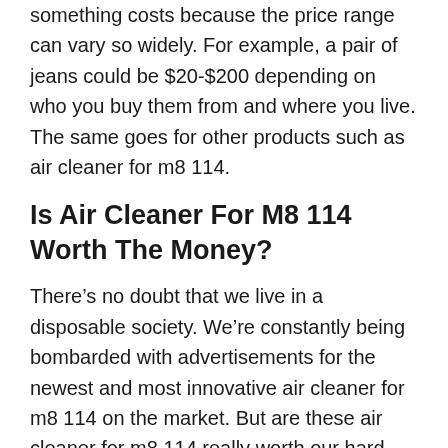something costs because the price range can vary so widely. For example, a pair of jeans could be $20-$200 depending on who you buy them from and where you live. The same goes for other products such as air cleaner for m8 114.
Is Air Cleaner For M8 114 Worth The Money?
There’s no doubt that we live in a disposable society. We’re constantly being bombarded with advertisements for the newest and most innovative air cleaner for m8 114 on the market. But are these air cleaner for m8 114 really worth our hard-earned money? Some of them definitely are if you can choose carefully! But others…not so much.